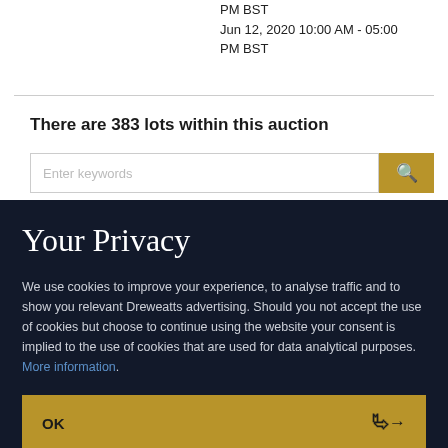PM BST
Jun 12, 2020 10:00 AM - 05:00 PM BST
There are 383 lots within this auction
[Figure (screenshot): Search input box with placeholder 'Enter keywords' and a gold search button]
Your Privacy
We use cookies to improve your experience, to analyse traffic and to show you relevant Dreweatts advertising. Should you not accept the use of cookies but choose to continue using the website your consent is implied to the use of cookies that are used for data analytical purposes. More information.
OK